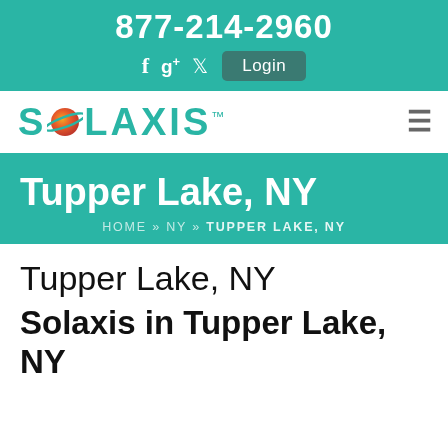877-214-2960
[Figure (screenshot): Social media icons: Facebook, Google+, Twitter, and a Login button]
[Figure (logo): Solaxis logo with planet graphic and trademark symbol]
Tupper Lake, NY
HOME » NY » TUPPER LAKE, NY
Tupper Lake, NY
Solaxis in Tupper Lake, NY